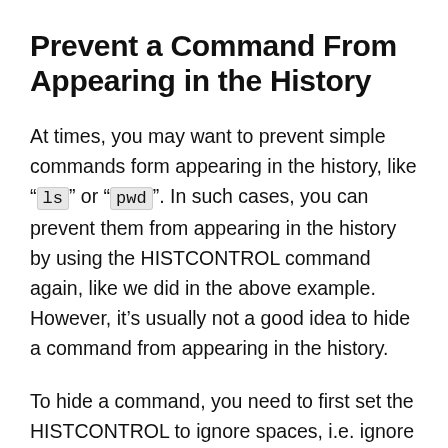Prevent a Command From Appearing in the History
At times, you may want to prevent simple commands form appearing in the history, like "ls" or "pwd". In such cases, you can prevent them from appearing in the history by using the HISTCONTROL command again, like we did in the above example. However, it's usually not a good idea to hide a command from appearing in the history.
To hide a command, you need to first set the HISTCONTROL to ignore spaces, i.e. ignore all commands that start with space. Then when